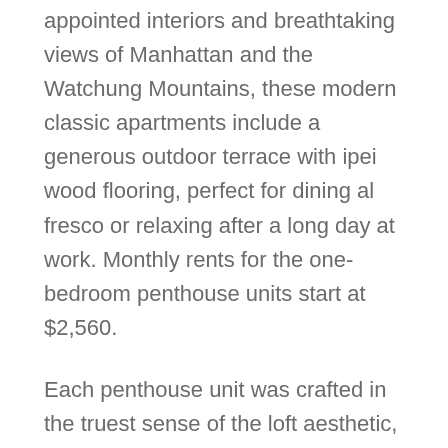appointed interiors and breathtaking views of Manhattan and the Watchung Mountains, these modern classic apartments include a generous outdoor terrace with ipei wood flooring, perfect for dining al fresco or relaxing after a long day at work. Monthly rents for the one-bedroom penthouse units start at $2,560.
Each penthouse unit was crafted in the truest sense of the loft aesthetic, blending contemporary comforts with echoes of industrial design. Stunning interiors are accentuated by 10+-foot ceilings, creating an unprecedented sense of light, spaciousness